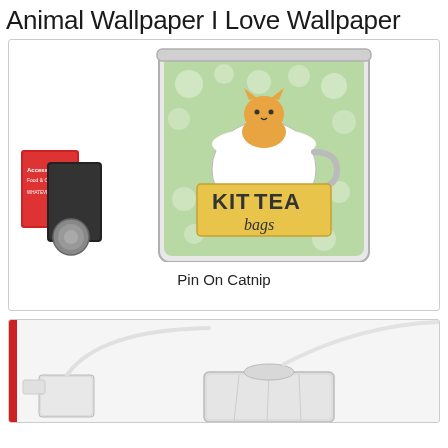Animal Wallpaper I Love Wallpaper
[Figure (photo): A decorative tin labeled 'KitTEA bags' with a green floral pattern and a cartoon cat sitting in a teacup, alongside small packaged items on the left side.]
Pin On Catnip
[Figure (photo): Close-up photo of white tea bags with strings on a white background.]